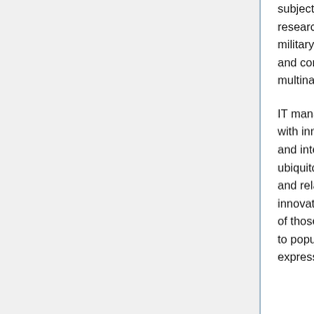subject to strong security and secrecy rules. The researcher's agenda was mostly defined by four groups: military and law enforcement agencies, energy agencies and corporations, health agencies, and nano-bio-IT multinational corporations.
IT managed to rather smartly combine increased security with innovative capabilities. Pervasive sensors, actuators and interactive interfaces of all kinds provided a ubiquitous grid of information closely related to physical and relational spaces, allowing the spawn of many innovative commercial services and social spaces. Many of those who felt ill at ease in the world as it was, came to populate these real-virtual social spaces of free expression and behaviour. These spaces were tolerated